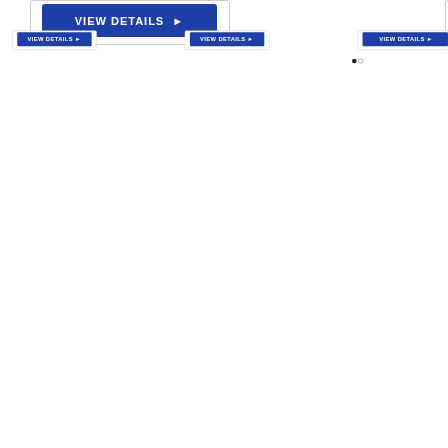[Figure (screenshot): Three 'VIEW DETAILS ▶' blue buttons partially visible at the top of the page, cropped from a product listing carousel. Two pagination dots (one filled, one empty) visible to the right.]